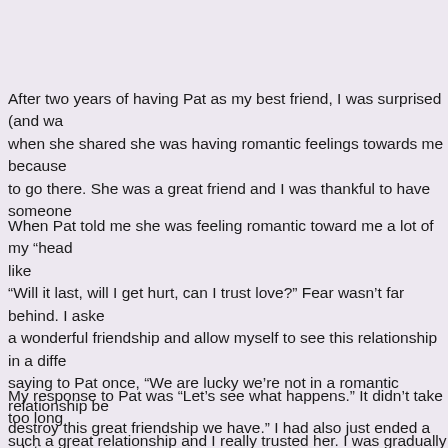After two years of having Pat as my best friend, I was surprised (and wa when she shared she was having romantic feelings towards me because to go there. She was a great friend and I was thankful to have someone
When Pat told me she was feeling romantic toward me a lot of my “head like “Will it last, will I get hurt, can I trust love?” Fear wasn’t far behind. I aske a wonderful friendship and allow myself to see this relationship in a diffe saying to Pat once, “We are lucky we’re not in a romantic relationship be destroy this great friendship we have.” I had also just ended a relationsh best I ever had, but ended up with me being blindsided and hurt. I aske that again? How could I trust again? Isn’t it too soon to start another rela
My response to Pat was “Let’s see what happens.” It didn’t take too long such a great relationship and I really trusted her. I was gradually able to my head and let my heart receive the love that was being offered. I let